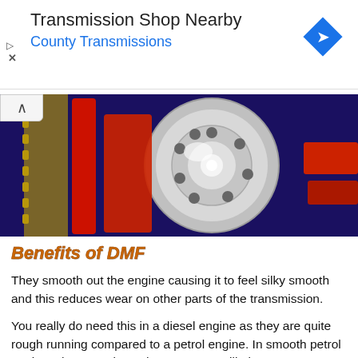[Figure (screenshot): Advertisement banner: 'Transmission Shop Nearby' with blue subtitle 'County Transmissions' and a blue diamond navigation icon on the right. Small play and X controls on the left.]
[Figure (photo): Close-up photo of a dual mass flywheel (DMF) component showing a metallic disc with holes and red/blue components around it.]
Benefits of DMF
They smooth out the engine causing it to feel silky smooth and this reduces wear on other parts of the transmission.
You really do need this in a diesel engine as they are quite rough running compared to a petrol engine. In smooth petrol engines they are nice to have. A DMF will also protect an engine as well as the gearbox from shock and vibration.